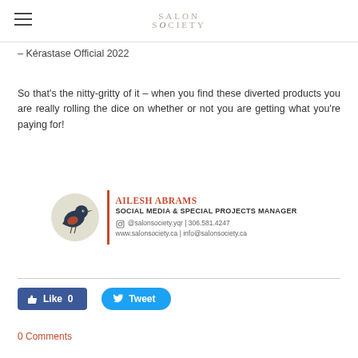SALON SOCIETY
– Kérastase Official 2022
So that's the nitty-gritty of it – when you find these diverted products you are really rolling the dice on whether or not you are getting what you're paying for!
[Figure (logo): Salon Society business card / signature block with bird logo, name AILESH ABRAMS, title SOCIAL MEDIA & SPECIAL PROJECTS MANAGER, contact @salonsociety.yqr | 306.581.4247, www.salonsociety.ca | info@salonsociety.ca]
[Figure (other): Facebook Like 0 button and Twitter Tweet button]
0 Comments